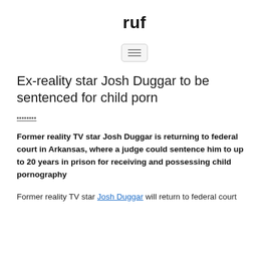ruf
[Figure (other): Hamburger menu button icon with three horizontal lines, inside a rounded rectangle button]
Ex-reality star Josh Duggar to be sentenced for child porn
▪▪▪▪▪▪▪▪
Former reality TV star Josh Duggar is returning to federal court in Arkansas, where a judge could sentence him to up to 20 years in prison for receiving and possessing child pornography
Former reality TV star Josh Duggar will return to federal court